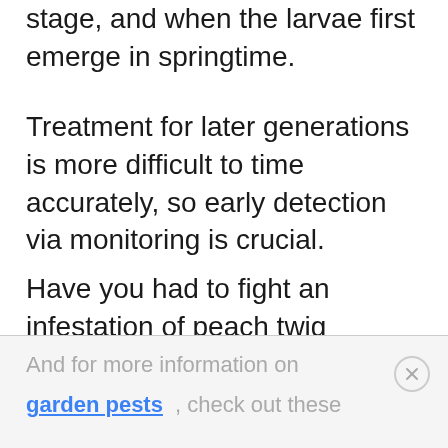stage, and when the larvae first emerge in springtime.
Treatment for later generations is more difficult to time accurately, so early detection via monitoring is crucial.
Have you had to fight an infestation of peach twig borers? If so, let us know how your trees fared in the comments section below.
And for more information on garden pests, check out these